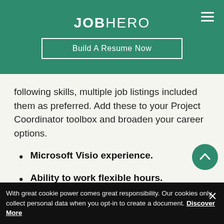JOBHERO
Build A Resume Now
following skills, multiple job listings included them as preferred. Add these to your Project Coordinator toolbox and broaden your career options.
Microsoft Visio experience.
Ability to work flexible hours.
Knowledge of telecommunication features or applications such as WebEx or Telepresence
With great cookie power comes great responsibility. Our cookies only collect personal data when you opt-in to create a document. Discover More